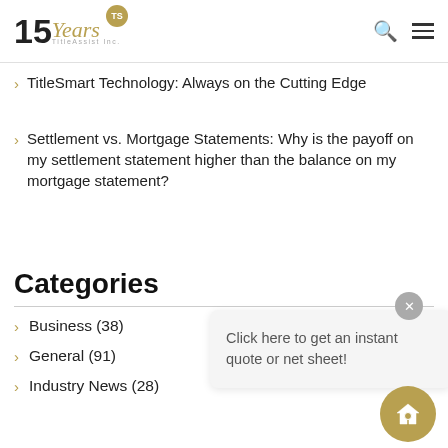TitleSmart 15 Years TitleAssist Inc.
TitleSmart Technology: Always on the Cutting Edge
Settlement vs. Mortgage Statements: Why is the payoff on my settlement statement higher than the balance on my mortgage statement?
Categories
Business (38)
General (91)
Industry News (28)
Click here to get an instant quote or net sheet!